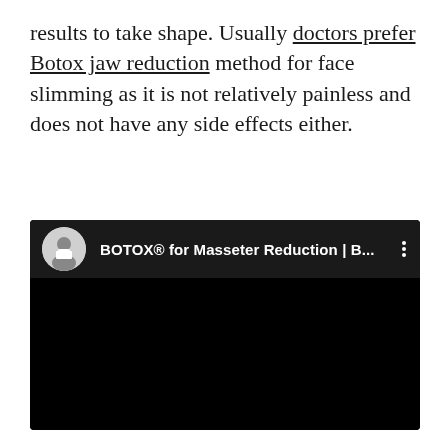results to take shape. Usually doctors prefer Botox jaw reduction method for face slimming as it is not relatively painless and does not have any side effects either.
[Figure (screenshot): Embedded YouTube-style video player screenshot showing a dark/black video area with a header bar containing a circular avatar photo of a doctor in a white coat, and the title 'BOTOX® for Masseter Reduction | B...' with a three-dot menu icon.]